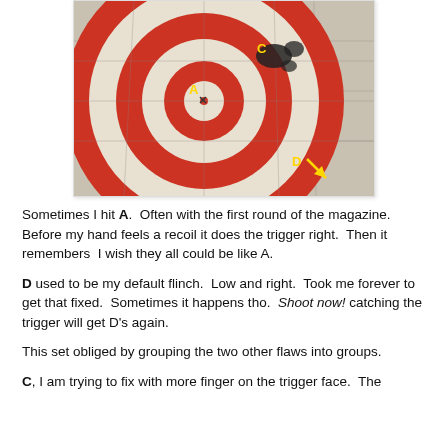[Figure (photo): A red and white circular shooting target with bullet holes marked by yellow letters A, C, and D with an arrow. A is near the center, C is upper right near the bullseye, D is lower right with a downward-right arrow indicating the shot location.]
Sometimes I hit A.  Often with the first round of the magazine.  Before my hand feels a recoil it does the trigger right.  Then it remembers  I wish they all could be like A.
D used to be my default flinch.  Low and right.  Took me forever to get that fixed.  Sometimes it happens tho.  Shoot now! catching the trigger will get D's again.
This set obliged by grouping the two other flaws into groups.
C, I am trying to fix with more finger on the trigger face.  The